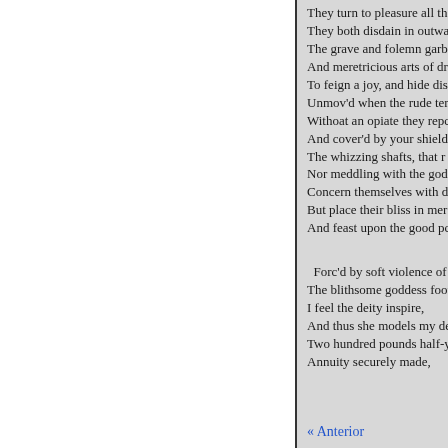They turn to pleasure all the
They both disdain in outwa
The grave and folemn garb
And meretricious arts of dr
To feign a joy, and hide dis
Unmov'd when the rude ter
Withoat an opiate they repc
And cover'd by your shield
The whizzing shafts, that r
Nor meddling with the god
Concern themselves with d
But place their bliss in mer
And feast upon the good pc

Forc'd by soft violence of
The blithsome goddess foot
I feel the deity inspire,
And thus she models my de
Two hundred pounds half-y
Annuity securely made,
« Anterior